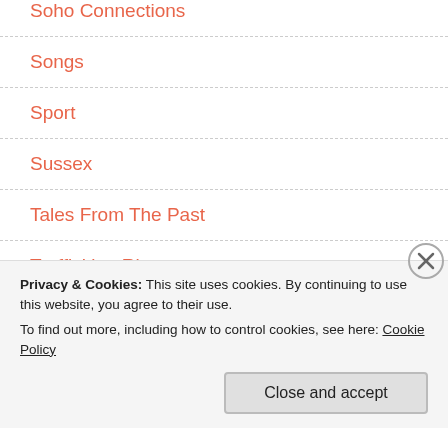Soho Connections
Songs
Sport
Sussex
Tales From The Past
Trafficking Ring
Uncategorized
Unsolved crimes
Privacy & Cookies: This site uses cookies. By continuing to use this website, you agree to their use.
To find out more, including how to control cookies, see here: Cookie Policy
Close and accept